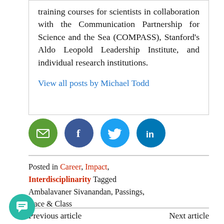training courses for scientists in collaboration with the Communication Partnership for Science and the Sea (COMPASS), Stanford's Aldo Leopold Leadership Institute, and individual research institutions.
View all posts by Michael Todd
[Figure (infographic): Social share icons: Email (green), Facebook (dark blue), Twitter (light blue), LinkedIn (dark teal)]
Posted in Career, Impact, Interdisciplinarity Tagged Ambalavaner Sivanandan, Passings, Race & Class
Previous article   Next article